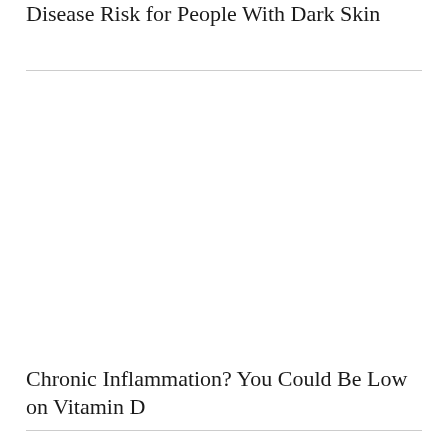Disease Risk for People With Dark Skin
Chronic Inflammation? You Could Be Low on Vitamin D